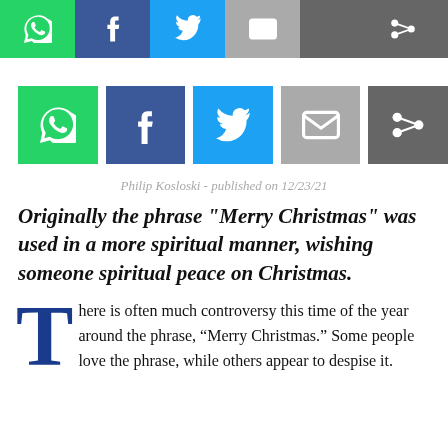[Figure (other): Top share bar with WhatsApp, Facebook, Twitter, Email, and share buttons]
[Figure (other): Second row of share buttons: WhatsApp, Facebook, Twitter, Email, share]
Philip Kosloski - published on 12/23/21
Originally the phrase "Merry Christmas" was used in a more spiritual manner, wishing someone spiritual peace on Christmas.
There is often much controversy this time of the year around the phrase, “Merry Christmas.” Some people love the phrase, while others appear to despise it.